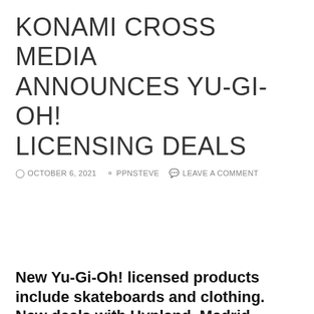KONAMI CROSS MEDIA ANNOUNCES YU-GI-OH! LICENSING DEALS
OCTOBER 6, 2021  PPNSTEVE  LEAVE A COMMENT
New Yu-Gi-Oh! licensed products include skateboards and clothing. New deals with Hypland, Madrid Skateboards, PSD Underwear and Tuned in Tokyo.